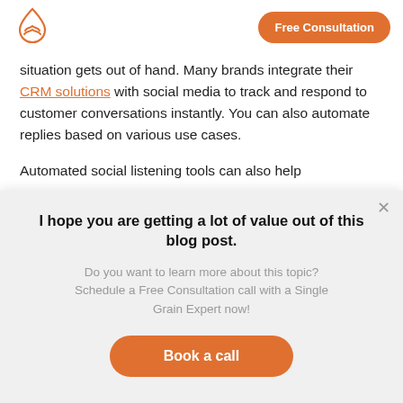[Figure (logo): Single Grain logo - water drop / flame shaped icon with wave pattern inside, orange outline]
Free Consultation
situation gets out of hand. Many brands integrate their CRM solutions with social media to track and respond to customer conversations instantly. You can also automate replies based on various use cases.
Automated social listening tools can also help
I hope you are getting a lot of value out of this blog post.
Do you want to learn more about this topic? Schedule a Free Consultation call with a Single Grain Expert now!
Book a call